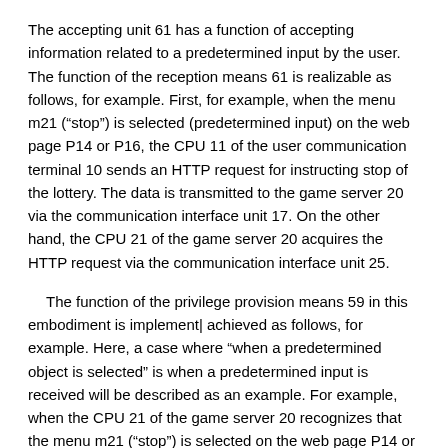The accepting unit 61 has a function of accepting information related to a predetermined input by the user. The function of the reception means 61 is realizable as follows, for example. First, for example, when the menu m21 (“stop”) is selected (predetermined input) on the web page P14 or P16, the CPU 11 of the user communication terminal 10 sends an HTTP request for instructing stop of the lottery. The data is transmitted to the game server 20 via the communication interface unit 17. On the other hand, the CPU 21 of the game server 20 acquires the HTTP request via the communication interface unit 25.
The function of the privilege provision means 59 in this embodiment is implement∣achieved as follows, for example. Here, a case where “when a predetermined object is selected” is when a predetermined input is received will be described as an example. For example, when the CPU 21 of the game server 20 recognizes that the menu m21 (“stop”) is selected on the web page P14 or P16 (when a predetermined input is accepted), the CPU 21 is associated with the processing target user. The process which provides the said user with the privilege according to